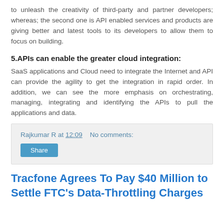to unleash the creativity of third-party and partner developers; whereas; the second one is API enabled services and products are giving better and latest tools to its developers to allow them to focus on building.
5.APIs can enable the greater cloud integration:
SaaS applications and Cloud need to integrate the Internet and API can provide the agility to get the integration in rapid order. In addition, we can see the more emphasis on orchestrating, managing, integrating and identifying the APIs to pull the applications and data.
Rajkumar R at 12:09   No comments:
Share
Tracfone Agrees To Pay $40 Million to Settle FTC's Data-Throttling Charges